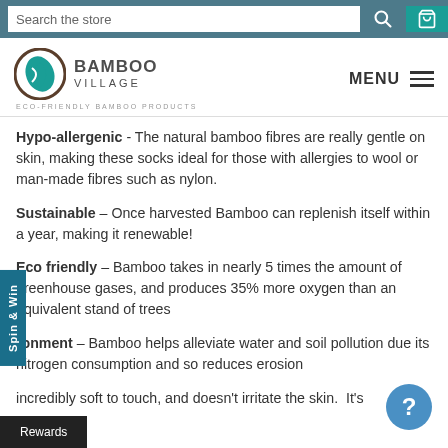Search the store
[Figure (logo): Bamboo Village logo with teal leaf icon, text BAMBOO VILLAGE, tagline ECO-FRIENDLY BAMBOO PRODUCTS]
Hypo-allergenic - The natural bamboo fibres are really gentle on skin, making these socks ideal for those with allergies to wool or man-made fibres such as nylon.
Sustainable – Once harvested Bamboo can replenish itself within a year, making it renewable!
Eco friendly – Bamboo takes in nearly 5 times the amount of greenhouse gases, and produces 35% more oxygen than an equivalent stand of trees
Environment – Bamboo helps alleviate water and soil pollution due its nitrogen consumption and so reduces erosion
incredibly soft to touch, and doesn't irritate the skin. It's